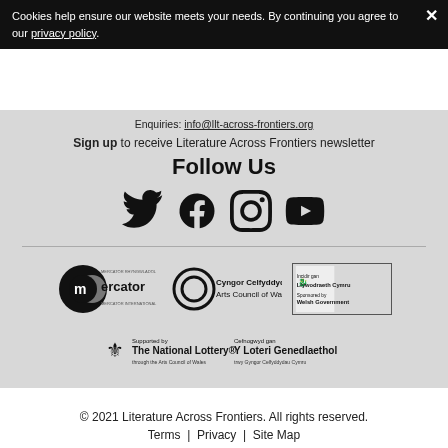Cookies help ensure our website meets your needs. By continuing you agree to our privacy policy.
Enquiries: info@llt-across-frontiers.org
Sign up to receive Literature Across Frontiers newsletter
Follow Us
[Figure (other): Social media icons: Twitter, Facebook, Instagram, YouTube]
[Figure (logo): Mercator International logo]
[Figure (logo): Cyngor Celfyddydau Cymru - Arts Council of Wales logo]
[Figure (logo): Sponsored by Welsh Government logo]
[Figure (logo): Supported by The National Lottery through the Arts Council of Wales / Y Loteri Genedlaethol trwy Gyngor Celfyddydau Cymru]
© 2021 Literature Across Frontiers. All rights reserved.
Terms | Privacy | Site Map